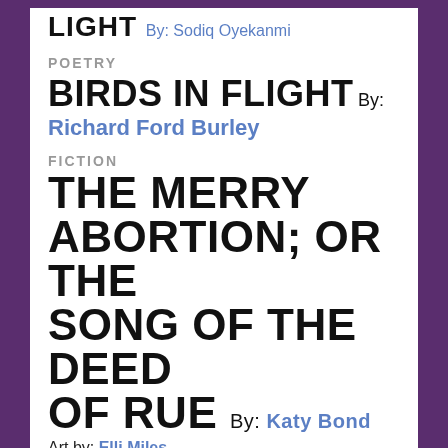LIGHT By: Sodiq Oyekanmi
POETRY
BIRDS IN FLIGHT By: Richard Ford Burley
FICTION
THE MERRY ABORTION; OR THE SONG OF THE DEED OF RUE By: Katy Bond
Art by: Elli Miles
REVIEWS
Monday: WE'VE BEEN